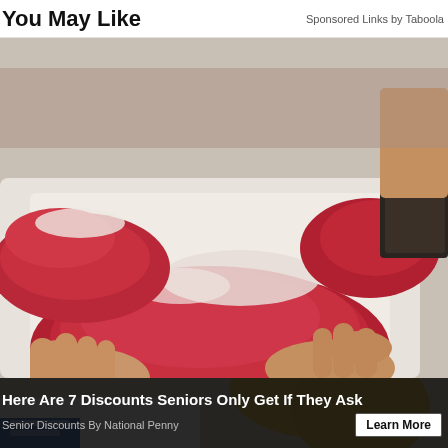You May Like    Sponsored Links by Taboola
[Figure (photo): Hands holding raw cuts of beef/meat on a white cutting board, butcher shop scene]
Here Are 7 Discounts Seniors Only Get If They Ask
Senior Discounts By National Penny
Learn More